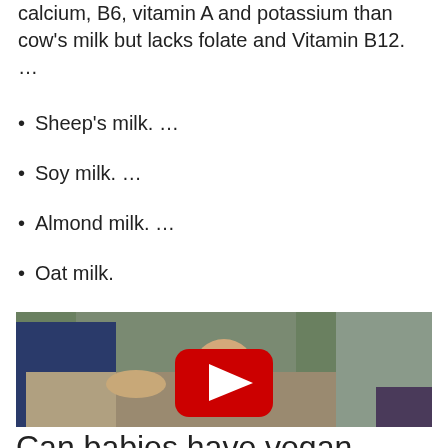Goat's milk. Goat's milk contains more calcium, B6, vitamin A and potassium than cow's milk but lacks folate and Vitamin B12. …
Sheep's milk. …
Soy milk. …
Almond milk. …
Oat milk.
[Figure (screenshot): YouTube video thumbnail showing two adults with a baby outdoors, with a red YouTube play button overlay in the center.]
Can babies have vegan